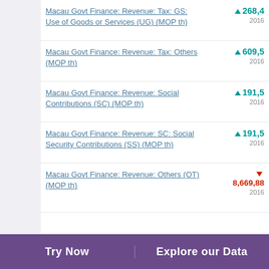Macau Govt Finance: Revenue: Tax: GS: Use of Goods or Services (UG) (MOP th)
Macau Govt Finance: Revenue: Tax: Others (MOP th)
Macau Govt Finance: Revenue: Social Contributions (SC) (MOP th)
Macau Govt Finance: Revenue: SC: Social Security Contributions (SS) (MOP th)
Macau Govt Finance: Revenue: Others (OT) (MOP th)
Try Now   Explore our Data